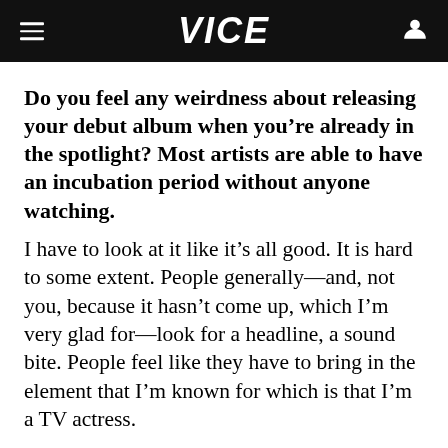VICE
Do you feel any weirdness about releasing your debut album when you’re already in the spotlight? Most artists are able to have an incubation period without anyone watching.
I have to look at it like it’s all good. It is hard to some extent. People generally—and, not you, because it hasn’t come up, which I’m very glad for—look for a headline, a sound bite. People feel like they have to bring in the element that I’m known for which is that I’m a TV actress.
ADVERTISEMENT